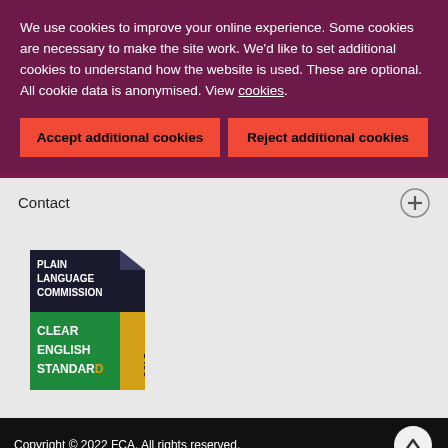We use cookies to improve your online experience. Some cookies are necessary to make the site work. We'd like to set additional cookies to understand how the website is used. These are optional. All cookie data is anonymised. View cookies.
Accept additional cookies
Reject additional cookies
Contact
[Figure (logo): Plain Language Commission Clear English Standard Gold logo — black document-shaped badge with white text reading PLAIN LANGUAGE COMMISSION, green band with white text CLEAR ENGLISH STANDARD, and gold vertical stripe with text GOLD]
Copyright © 2022 FCA. All rights reserved.